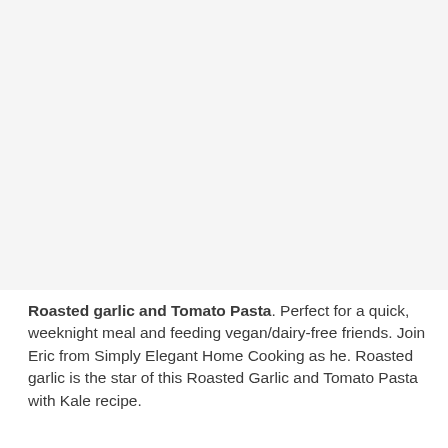[Figure (photo): Blank/white image placeholder area at the top of the page]
Roasted garlic and Tomato Pasta. Perfect for a quick, weeknight meal and feeding vegan/dairy-free friends. Join Eric from Simply Elegant Home Cooking as he. Roasted garlic is the star of this Roasted Garlic and Tomato Pasta with Kale recipe.